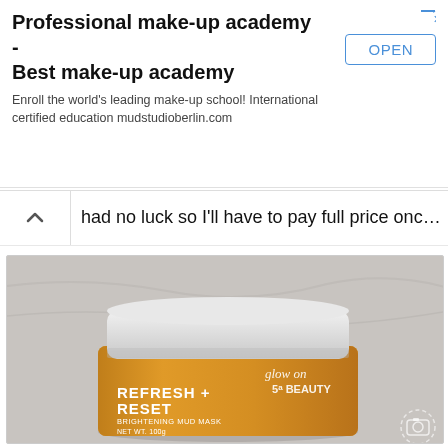[Figure (infographic): Advertisement banner for Professional make-up academy - Best make-up academy with an OPEN button]
Professional make-up academy - Best make-up academy
Enroll the world's leading make-up school! International certified education mudstudioberlin.com
had no luck so I'll have to pay full price once I run out.
[Figure (photo): Photo of a golden/orange jar of 'Glow on 5th Beauty Refresh + Reset Brightening Mud Mask NET WT. 100g' with a white lid, on a marble surface]